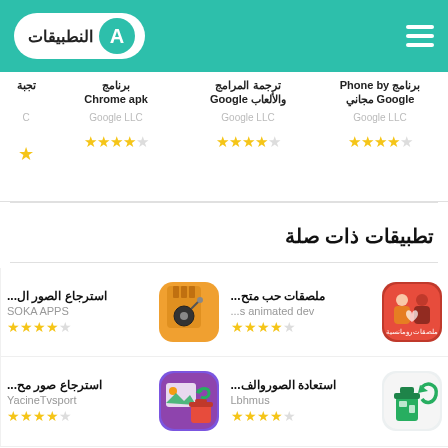النطبيقات (header with logo and hamburger menu)
برنامج Chrome apk
Google LLC ⭐⭐⭐⭐☆
ترجمة المرامج والألعاب Google
Google LLC ⭐⭐⭐⭐☆
برنامج Phone by Google مجاني
Google LLC ⭐⭐⭐⭐☆
تطبيقات ذات صلة
استرجاع الصور ال...
SOKA APPS ⭐⭐⭐⭐☆
ملصقات حب متح...
...s animated dev ⭐⭐⭐⭐☆
استرجاع صور مح...
YacineTvsport ⭐⭐⭐⭐☆
استعادة الصوروالف...
Lbhmus ⭐⭐⭐⭐☆